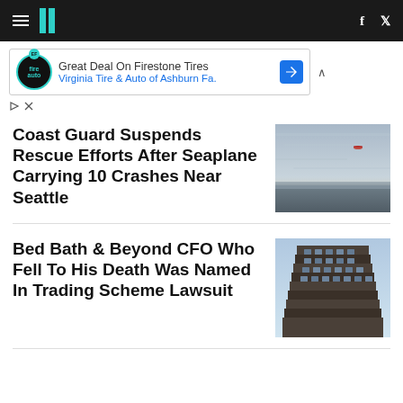HuffPost navigation bar with hamburger menu, logo, Facebook and Twitter icons
[Figure (screenshot): Advertisement banner: Great Deal On Firestone Tires - Virginia Tire & Auto of Ashburn Fa.]
Coast Guard Suspends Rescue Efforts After Seaplane Carrying 10 Crashes Near Seattle
[Figure (photo): Aerial photo over water with a small helicopter or aircraft visible against gray cloudy sky]
Bed Bath & Beyond CFO Who Fell To His Death Was Named In Trading Scheme Lawsuit
[Figure (photo): Photo of a modern high-rise building with stepped balconies, viewed from below against blue sky]